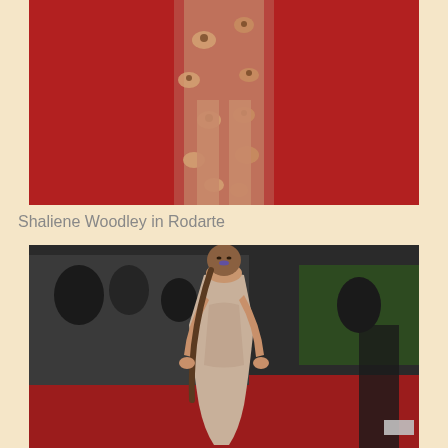[Figure (photo): Partial lower body shot of a person wearing a sheer floral gown with flowers on a red carpet background]
Shaliene Woodley in Rodarte
[Figure (photo): Woman in a strapless beige/nude fitted gown with a long braid and purple lipstick posing on a red carpet, with photographers and crowd in the background]